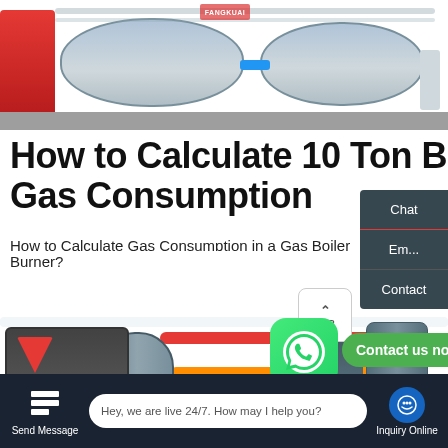[Figure (photo): Industrial gas boiler room with large cylindrical tanks, red boiler unit, blue pipes, in a white facility]
How to Calculate 10 Ton Boiler Gas Consumption
How to Calculate Gas Consumption in a Gas Boiler Burner?
Learn More
[Figure (photo): Industrial boiler room interior with red and orange pipes on ceiling, cylindrical boiler units, and a branded red logo on black boiler]
Contact us now!
Chat
Em...
Contact
Send Message
Hey, we are live 24/7. How may I help you?
Inquiry Online